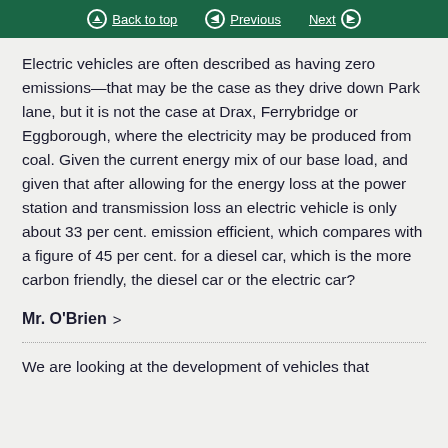Back to top  Previous  Next
Electric vehicles are often described as having zero emissions—that may be the case as they drive down Park lane, but it is not the case at Drax, Ferrybridge or Eggborough, where the electricity may be produced from coal. Given the current energy mix of our base load, and given that after allowing for the energy loss at the power station and transmission loss an electric vehicle is only about 33 per cent. emission efficient, which compares with a figure of 45 per cent. for a diesel car, which is the more carbon friendly, the diesel car or the electric car?
Mr. O'Brien  >
We are looking at the development of vehicles that